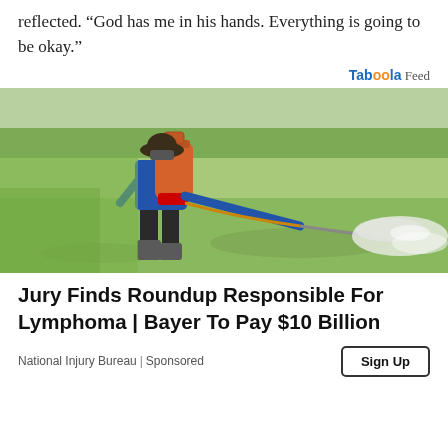reflected. “God has me in his hands. Everything is going to be okay.”
Taboola Feed
[Figure (photo): A farmer wearing a blue long-sleeve shirt, black shorts, boots, and a wide-brimmed hat with a face mask, carrying an orange backpack sprayer and spraying pesticide/herbicide across a flooded green rice field. A mist of spray is visible to the right.]
Jury Finds Roundup Responsible For Lymphoma | Bayer To Pay $10 Billion
National Injury Bureau | Sponsored
Sign Up